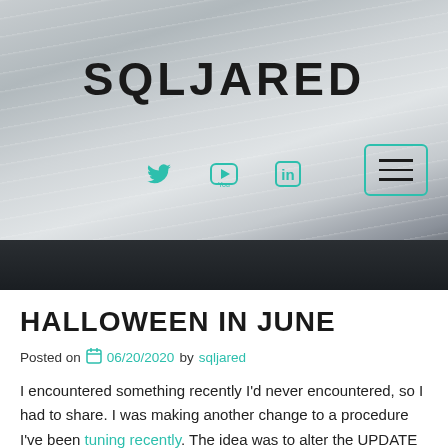[Figure (photo): Website header background: blurred pages of books with a dark band at the bottom, light gray and dark gradient]
SQLJARED
[Figure (other): Social media icons: Twitter bird, YouTube logo, LinkedIn 'in' — all in teal color]
[Figure (other): Hamburger menu button with three horizontal lines in a teal-bordered rounded rectangle]
HALLOWEEN IN JUNE
Posted on 06/20/2020 by sqljared
I encountered something recently I'd never encountered, so I had to share. I was making another change to a procedure I've been tuning recently. The idea was to alter the UPDATE statements to skip rows unless they are making real